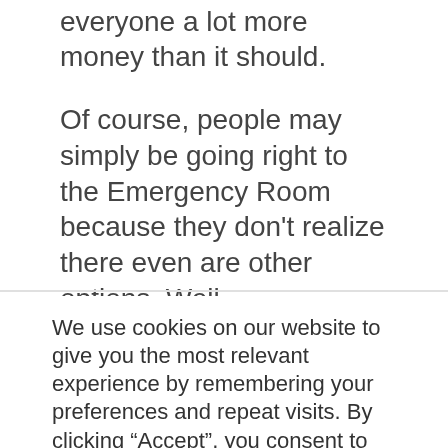everyone a lot more money than it should.
Of course, people may simply be going right to the Emergency Room because they don't realize there even are other options. Well, UnitedHealthcare wants to make sure you're armed with the proper information. That's why they've created the interactive Quick Care Quiz to explain it all to you in real simple terms.
We use cookies on our website to give you the most relevant experience by remembering your preferences and repeat visits. By clicking "Accept", you consent to the use of ALL the cookies. Do not sell my personal information.